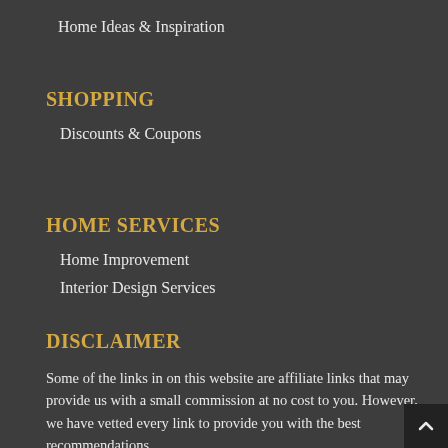Home Ideas & Inspiration
SHOPPING
Discounts & Coupons
HOME SERVICES
Home Improvement
Interior Design Services
DISCLAIMER
Some of the links in on this website are affiliate links that may provide us with a small commission at no cost to you. However, we have vetted every link to provide you with the best recommendations.